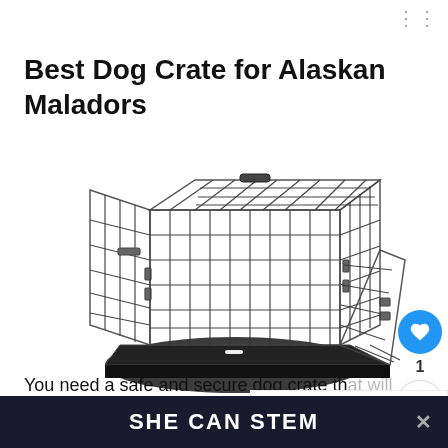Best Dog Crate for Alaskan Maladors
[Figure (photo): An open wire metal dog crate with two doors open, showing a black plastic tray at the bottom. The crate is a large size, shown on a white background.]
You need a safe and secure dog crate that will help you keep a good check on your pet pal when you are not around, so the best dog crate for an Al...
SHE CAN STEM